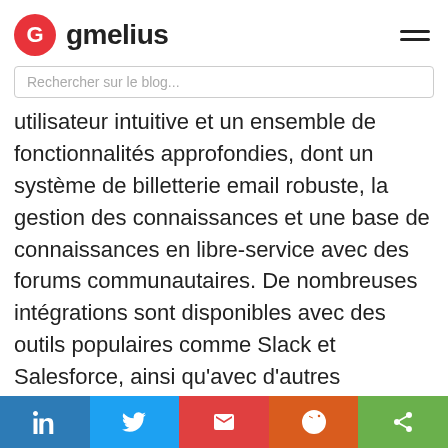gmelius
Rechercher sur le blog...
utilisateur intuitive et un ensemble de fonctionnalités approfondies, dont un système de billetterie email robuste, la gestion des connaissances et une base de connaissances en libre-service avec des forums communautaires. De nombreuses intégrations sont disponibles avec des outils populaires comme Slack et Salesforce, ainsi qu'avec d'autres applications commerciales utilisées pour des choses comme la comptabilité et le commerce.